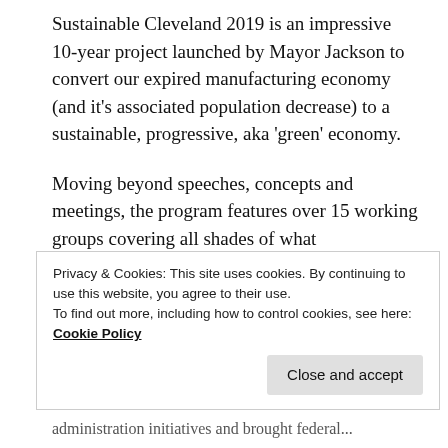Sustainable Cleveland 2019 is an impressive 10-year project launched by Mayor Jackson to convert our expired manufacturing economy (and it's associated population decrease) to a sustainable, progressive, aka 'green' economy.
Moving beyond speeches, concepts and meetings, the program features over 15 working groups covering all shades of what sustainability means in modern America. This is also a unique movement in that every type of person, from every walk of life, in every type of industry,
Privacy & Cookies: This site uses cookies. By continuing to use this website, you agree to their use.
To find out more, including how to control cookies, see here: Cookie Policy
Close and accept
administration initiatives and brought federal...